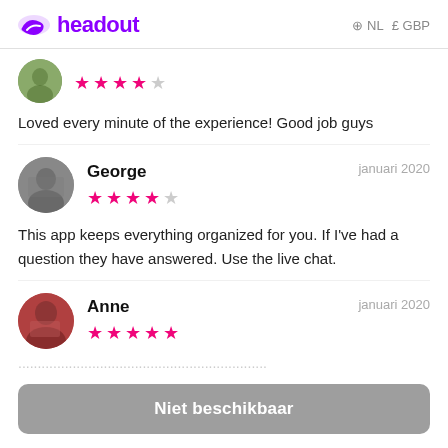headout  NL  £GBP
[Figure (other): Partial circular avatar photo (cut off at top), green-toned image of a person, with 4 pink stars and 1 grey star rating below]
Loved every minute of the experience! Good job guys
[Figure (other): Circular avatar photo of George, street scene background, with 4 pink stars and 1 grey star rating]
George  januari 2020
This app keeps everything organized for you. If I've had a question they have answered. Use the live chat.
[Figure (other): Circular avatar photo of Anne, person with guitar, with 5 pink stars rating]
Anne  januari 2020
Niet beschikbaar